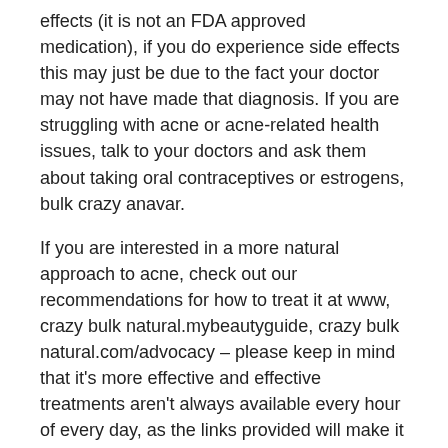effects (it is not an FDA approved medication), if you do experience side effects this may just be due to the fact your doctor may not have made that diagnosis. If you are struggling with acne or acne-related health issues, talk to your doctors and ask them about taking oral contraceptives or estrogens, bulk crazy anavar.
If you are interested in a more natural approach to acne, check out our recommendations for how to treat it at www, crazy bulk natural.mybeautyguide, crazy bulk natural.com/advocacy – please keep in mind that it's more effective and effective treatments aren't always available every hour of every day, as the links provided will make it pretty clear, crazy bulk natural.
4. Do what works for you personally
When it comes to correcting acne and